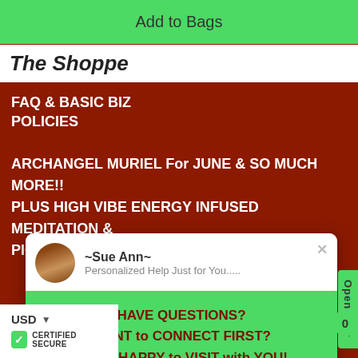[Figure (screenshot): Green 'Add to Bags' button at top of e-commerce page]
The Shoppe
FAQ & BASIC BIZ POLICIES
ARCHANGEL MURIEL For JUNE & SO MUCH MORE!!
PLUS HIGH VIBE ENERGY INFUSED MEDITATION & PICTURE!
[Figure (screenshot): Chat popup with Sue Ann avatar, 'Personalized Help Just for You.....' subtitle, green background with 'HAVE QUESTIONS? WANT to CONNECT FIRST? I'D BE HAPPY to VISIT with YOU!' and teal 'EMAIL ME. I'LL BE in TOUCH :D' button]
[Figure (screenshot): USD currency selector, certified secure badge with green checkmark at bottom left, and cart badge at bottom right]